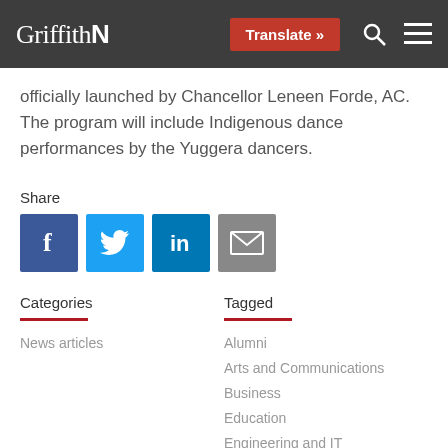Griffith N | Translate »
officially launched by Chancellor Leneen Forde, AC. The program will include Indigenous dance performances by the Yuggera dancers.
Share
[Figure (infographic): Social share icons: Facebook, Twitter, LinkedIn, Email]
Categories
News articles
Tagged
Alumni
Arts and Communications
Business
Education
Engineering and IT
Griffith